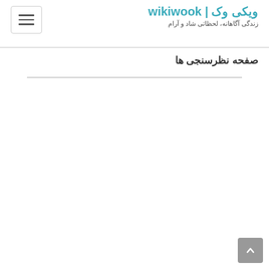ویکی وک | wikiwook — زندگی آگاهانه، لحظاتی شاد و آرام
صفحه نظرسنجی ها